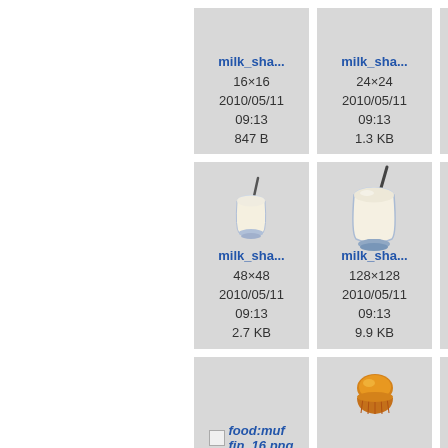[Figure (screenshot): File browser grid showing milk_shake icon files at various sizes. Row 1: milk_sha... 16x16 2010/05/11 09:13 847 B; milk_sha... 24x24 2010/05/11 09:13 1.3 KB; partial third tile. Row 2: milk_sha... 48x48 icon with milkshake image 2010/05/11 09:13 2.7 KB; milk_sha... 128x128 icon with larger milkshake image 2010/05/11 09:13 9.9 KB; partial third tile. Row 3: food:muffin_16.png (missing icon placeholder); muffin icon (orange muffin); partial third tile.]